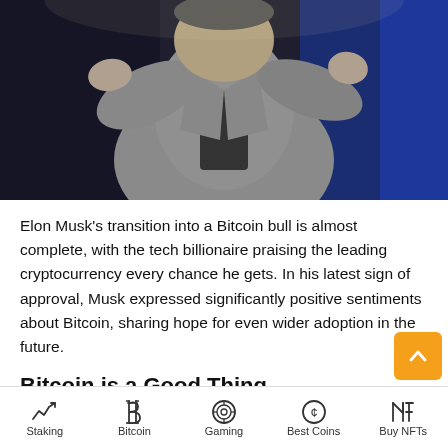[Figure (photo): Photo of a man in a grey jacket on a dark stage with blue background lighting, gesturing with hands]
Elon Musk's transition into a Bitcoin bull is almost complete, with the tech billionaire praising the leading cryptocurrency every chance he gets. In his latest sign of approval, Musk expressed significantly positive sentiments about Bitcoin, sharing hope for even wider adoption in the future.
Bitcoin is a Good Thing
Musk shared his recent thoughts on Bitcoin in a meeting on Clubhouse – the fast-rising, invite-only social media app. Per a Forbes report, the billionaire had called a
Staking  Bitcoin  Gaming  Best Coins  Buy NFTs